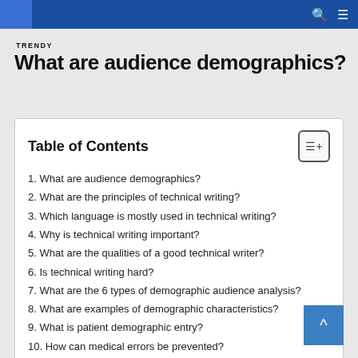TRENDY
What are audience demographics?
Table of Contents
1. What are audience demographics?
2. What are the principles of technical writing?
3. Which language is mostly used in technical writing?
4. Why is technical writing important?
5. What are the qualities of a good technical writer?
6. Is technical writing hard?
7. What are the 6 types of demographic audience analysis?
8. What are examples of demographic characteristics?
9. What is patient demographic entry?
10. How can medical errors be prevented?
11. What are HL7 standards?
12. Which is the best description of demographics?
13. What is meant by demography?